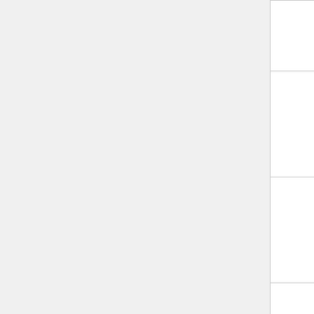| Name | Group | Description |
| --- | --- | --- |
|  |  | section
135 |
| INF_XE135_MICRO_ABS | 2G | Micro absorption cross section Xe-13... |
| INF_XE135M_MICRO_ABS | 2G | Micro absorption cross section Xe-13... |
| INF_PM149_MICRO_ABS | 2G | Micro absorption cross section Pm-1... |
|  |  | Micro absor... |